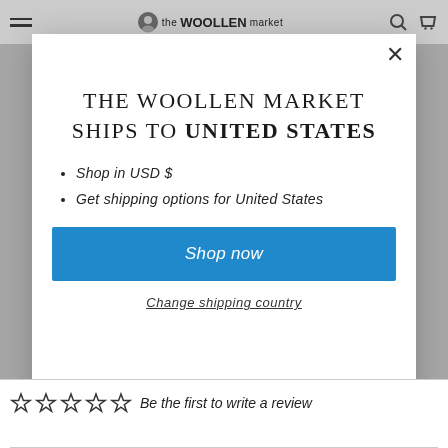the WOOLLEN market
THE WOOLLEN MARKET SHIPS TO UNITED STATES
Shop in USD $
Get shipping options for United States
Shop now
Change shipping country
Be the first to write a review